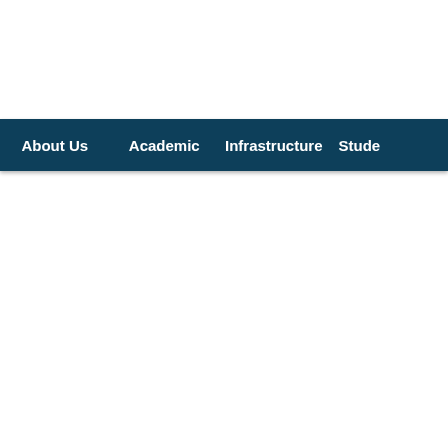About Us | Academic | Infrastructure | Stude...